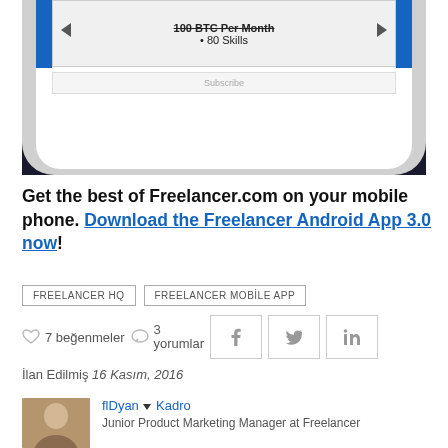[Figure (screenshot): Screenshot of a mobile phone app showing a subscription plan with '100 BTC Per Month' crossed out text and '• 80 Skills' on a white background with blue sidebar bars]
Get the best of Freelancer.com on your mobile phone. Download the Freelancer Android App 3.0 now!
FREELANCER HQ
FREELANCER MOBILE APP
7 beğenmeler  3 yorumlar
İlan Edilmiş 16 Kasım, 2016
flDyan ▼ Kadro
Junior Product Marketing Manager at Freelancer